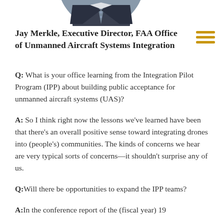[Figure (photo): Partial photo of Jay Merkle, showing lower portion of a man in a suit with a tie, circular crop]
Jay Merkle, Executive Director, FAA Office of Unmanned Aircraft Systems Integration
Q: What is your office learning from the Integration Pilot Program (IPP) about building public acceptance for unmanned aircraft systems (UAS)?
A: So I think right now the lessons we've learned have been that there's an overall positive sense toward integrating drones into (people's) communities. The kinds of concerns we hear are very typical sorts of concerns—it shouldn't surprise any of us.
Q: Will there be opportunities to expand the IPP teams?
A: In the conference report of the (fiscal year) 19...